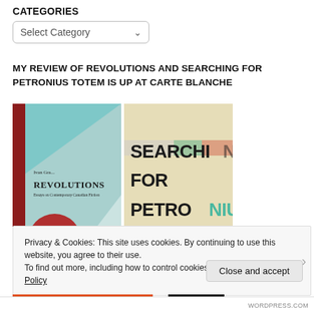CATEGORIES
Select Category
MY REVIEW OF REVOLUTIONS AND SEARCHING FOR PETRONIUS TOTEM IS UP AT CARTE BLANCHE
[Figure (photo): Two book covers side by side: left shows 'Revolutions' with a teal and red abstract cover, right shows 'Searching for Petronius Totem' with large bold text on a yellowed background]
Privacy & Cookies: This site uses cookies. By continuing to use this website, you agree to their use.
To find out more, including how to control cookies, see here: Cookie Policy
Close and accept